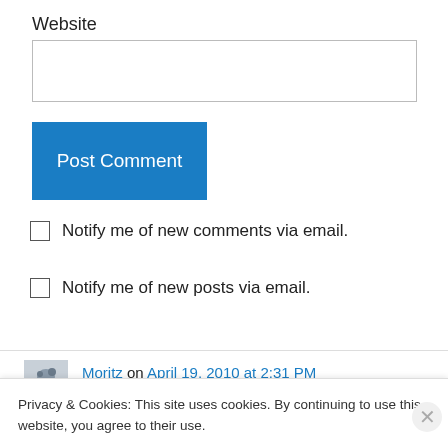Website
[Figure (screenshot): Website text input field (empty)]
Post Comment
Notify me of new comments via email.
Notify me of new posts via email.
Moritz on April 19, 2010 at 2:31 PM
Privacy & Cookies: This site uses cookies. By continuing to use this website, you agree to their use. To find out more, including how to control cookies, see here: Cookie Policy
Close and accept